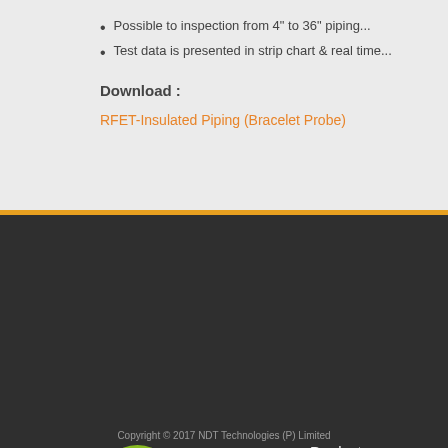Possible to inspection from 4" to 36" piping...
Test data is presented in strip chart & real time...
Download :
RFET-Insulated Piping (Bracelet Probe)
[Figure (logo): NDTT company logo with green star emblem and blue-grey 'ndtt' text]
Miles Ahead Technology....
Smiles Ahead Service....
Products
Inspection Serv...
Projects Divisio...
Service Suppor...
Copyright © 2017 NDT Technologies (P) Limited